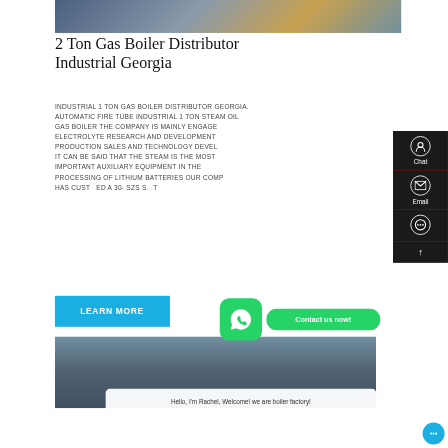[Figure (photo): Industrial boiler equipment photo showing blue machinery and pipes]
2 Ton Gas Boiler Distributor Industrial Georgia
INDUSTRIAL 1 TON GAS BOILER DISTRIBUTOR GEORGIA. AUTOMATIC FIRE TUBE INDUSTRIAL 1 TON STEAM OIL GAS BOILER THE COMPANY IS MAINLY ENGAGED ELECTROLYTE RESEARCH AND DEVELOPMENT PRODUCTION SALES AND TECHNOLOGY DEVEL IT CAN BE SAID THAT THE STEAM IS THE MOST IMPORTANT AUXILIARY EQUIPMENT IN THE PROCESSING OF LITHIUM BATTERIES OUR COMP HAS CUSTOMIZED A 30- SZS S...
[Figure (photo): Industrial factory interior with yellow pipes and machinery]
Hello, I'm Rachel, Welcome! we are boiler factory!